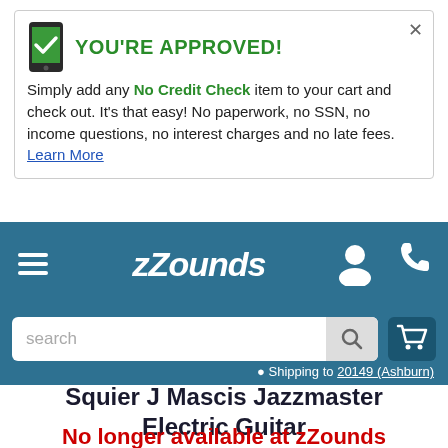YOU'RE APPROVED! Simply add any No Credit Check item to your cart and check out. It's that easy! No paperwork, no SSN, no income questions, no interest charges and no late fees. Learn More
[Figure (screenshot): zZounds navigation bar with hamburger menu, logo, user icon, phone icon, search bar, cart icon, and shipping location]
Squier J Mascis Jazzmaster Electric Guitar
No longer available at zZounds